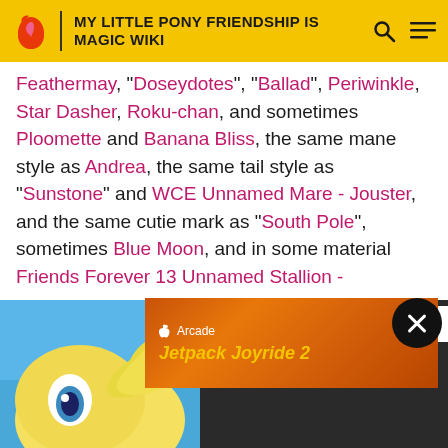MY LITTLE PONY FRIENDSHIP IS MAGIC WIKI
Feathermay, "Doseydotes", "Ballad", Periwinkle, Star Dasher, Roku-chan, and sometimes Ploomette and Banana Bliss, the same mane style as Andrea, the same tail style as "Sunstone" and WCE Unnamed Mare - Jouster, and the same cutie mark as "South Pole", sometimes Blue Moon, and in some material Friends Forever 13 Unnamed Stallion - Doctor. Similar to King Leo in name cousin
[Figure (screenshot): Apple Arcade advertisement for Jetpack Joyride 2]
[Figure (photo): Partial image of a pony character at the bottom left of the page]